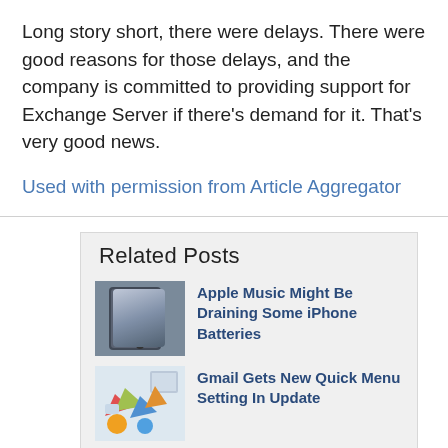Long story short, there were delays.  There were good reasons for those delays, and the company is committed to providing support for Exchange Server if there's demand for it.  That's very good news.
Used with permission from Article Aggregator
Related Posts
Apple Music Might Be Draining Some iPhone Batteries
Gmail Gets New Quick Menu Setting In Update
Popular Interior Design Website Has Breach Of User Accounts